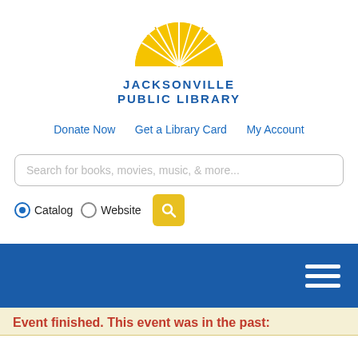[Figure (logo): Jacksonville Public Library logo: yellow sunburst semicircle above blue bold text 'JACKSONVILLE PUBLIC LIBRARY']
Donate Now   Get a Library Card   My Account
Search for books, movies, music, & more...
Catalog   Website
[Figure (other): Blue navigation bar with hamburger menu icon (three white horizontal lines) on the right]
Event finished. This event was in the past: